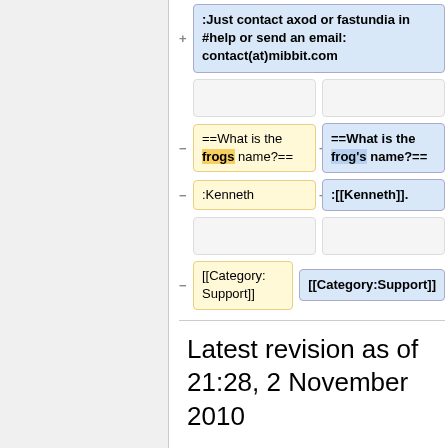[Figure (screenshot): Wikipedia diff view showing changes to a wiki page. Left (gray) panel is sidebar. Right panel shows diff rows: a blue addition box with ':Just contact axod or fastundia in #help or send an email: contact(at)mibbit.com'; two empty placeholder rows; a removal row '==What is the frogs name?==' vs addition '==What is the frog’s name?=='; a removal ':Kenneth' vs addition ':[[Kenneth]].'; an empty row pair; a removal '[[Category:Support]]' vs addition '[[Category:Support]]'; a horizontal separator; and a 'Latest revision as of 21:28, 2 November 2010' heading.]
Latest revision as of 21:28, 2 November 2010